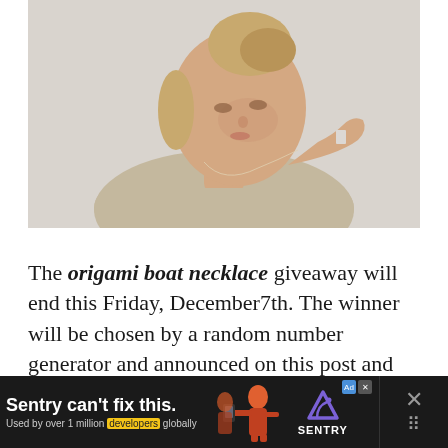[Figure (photo): A young blonde woman with her hair in a bun, wearing a beige/taupe t-shirt, looking down at a delicate necklace she is holding up, against a light grey-white background.]
The origami boat necklace giveaway will end this Friday, December7th. The winner will be chosen by a random number generator and announced on this post and on the ATP
[Figure (screenshot): Advertisement bar: 'Sentry can't fix this.' with subtext 'Used by over 1 million developers globally'. Shows Sentry logo. Dark background with a close/X button on the right.]